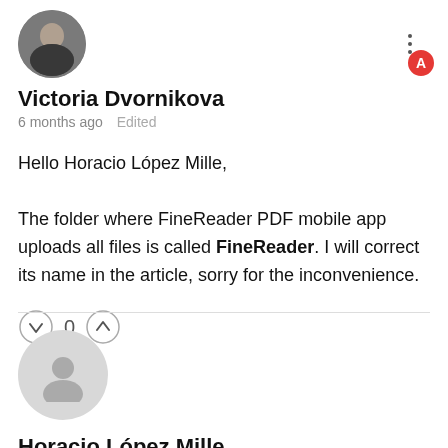[Figure (photo): Profile photo of Victoria Dvornikova, a woman, with a red circular badge showing letter A overlaid at the bottom right]
Victoria Dvornikova
6 months ago   Edited
Hello Horacio López Mille,

The folder where FineReader PDF mobile app uploads all files is called FineReader. I will correct its name in the article, sorry for the inconvenience.
[Figure (infographic): Vote controls: down arrow circle, 0 count, up arrow circle]
[Figure (illustration): Generic avatar placeholder (gray circle with person silhouette icon)]
Horacio López Mille